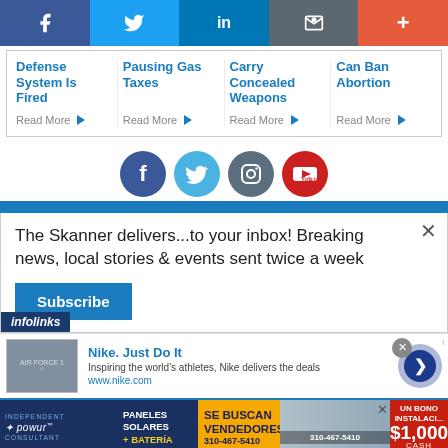Social share bar: Facebook, Twitter, LinkedIn, Email, More
Defense System Is Fired — Read More
Pausing Gas Taxes — Read More
Carry Concealed Weapons — Read More
Can Ban Abortion — Read More
[Figure (infographic): Social media icon buttons: Facebook, Twitter, Instagram, YouTube]
The Skanner delivers...to your inbox! Breaking news, local stories & events sent twice a week
Subscribe
infolinks
Nike. Just Do It — Inspiring the world's athletes, Nike delivers the deals — www.nike.com
[Figure (infographic): Solar panel advertisement: INDEPENDENT POWUR CONSULTANT, PANELES SOLARES + BATERÍA, SE BUSCAN VENDEDORES, 310-467-5410, $1,000 CASH, OBTENGO UN BONO INSTALACI...]